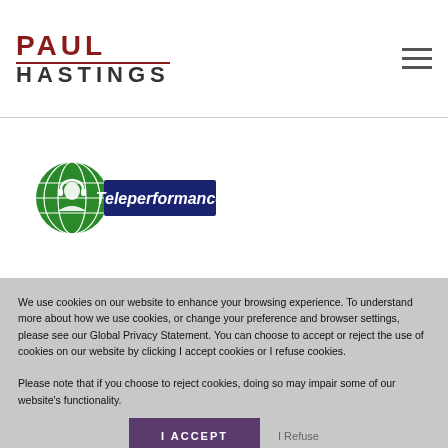[Figure (logo): Paul Hastings law firm logo with PAUL in dark red bold uppercase and HASTINGS in dark gray bold uppercase, with a horizontal rule between them]
[Figure (logo): Teleperformance logo: green globe icon with headset figure and dark blue rectangle with white italic 'Teleperformance' text]
We use cookies on our website to enhance your browsing experience. To understand more about how we use cookies, or change your preference and browser settings, please see our Global Privacy Statement. You can choose to accept or reject the use of cookies on our website by clicking I accept cookies or I refuse cookies.

Please note that if you choose to reject cookies, doing so may impair some of our website's functionality.
I ACCEPT
I Refuse